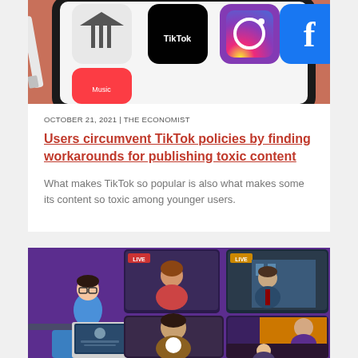[Figure (photo): Close-up photo of a smartphone screen showing social media app icons including TikTok, Instagram, Facebook, and others, with a stylus or pen visible on the left side against a coral/red background.]
OCTOBER 21, 2021 | THE ECONOMIST
Users circumvent TikTok policies by finding workarounds for publishing toxic content
What makes TikTok so popular is also what makes some its content so toxic among younger users.
[Figure (illustration): Illustration of people on video calls, showing a person sitting at a laptop with multiple video chat windows visible, with a purple background. Multiple avatar figures are shown in video conference panels labeled LIVE.]